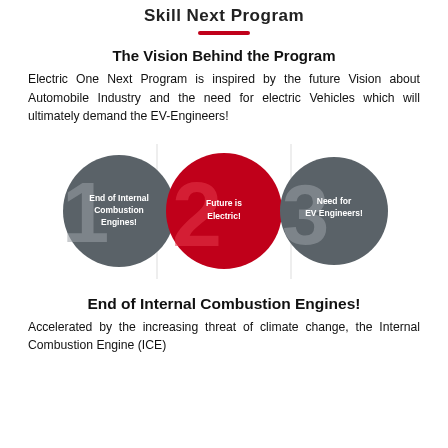Skill Next Program
The Vision Behind the Program
Electric One Next Program is inspired by the future Vision about Automobile Industry and the need for electric Vehicles which will ultimately demand the EV-Engineers!
[Figure (infographic): Three numbered circles in sequence: 1 - End of Internal Combustion Engines! (dark grey circle), 2 - Future is Electric! (red/crimson circle), 3 - Need for EV Engineers! (dark grey circle)]
End of Internal Combustion Engines!
Accelerated by the increasing threat of climate change, the Internal Combustion Engine (ICE)